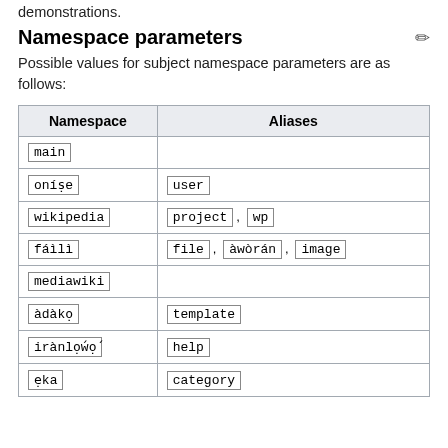demonstrations.
Namespace parameters
Possible values for subject namespace parameters are as follows:
| Namespace | Aliases |
| --- | --- |
| main |  |
| oníṣe | user |
| wikipedia | project , wp |
| fáìlì | file , àwòrán , image |
| mediawiki |  |
| àdàkọ | template |
| irànlọ́wọ́ | help |
| ẹka | category |